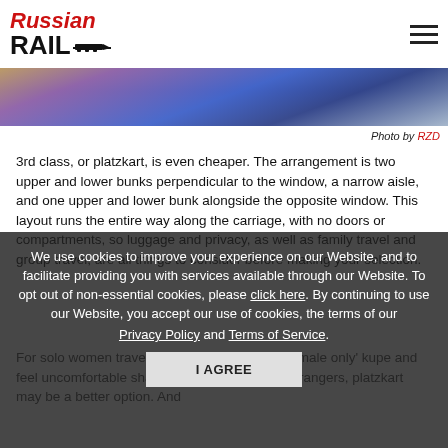[Figure (logo): Russian Rail logo with red italic 'Russian' text and bold black 'RAIL' with train icon]
[Figure (photo): Partial photo showing blue train berths/bunks, cropped from top]
Photo by RZD
3rd class, or platzkart, is even cheaper. The arrangement is two upper and lower bunks perpendicular to the window, a narrow aisle, and one upper and lower bunk alongside the opposite window. This layout runs the entire way along the carriage, with no doors or compartments, so luggage and privacy, as well as family travel and group travel, are all things to consider before making your selection.
We use cookies to improve your experience on our Website, and to facilitate providing you with services available through our Website. To opt out of non-essential cookies, please click here. By continuing to use our Website, you accept our use of cookies, the terms of our Privacy Policy and Terms of Service.
I AGREE
For solo women travellers who cannot find a 'female only' kupe and feel uncomfortable sharing a cabin with three strangers, platzkart may be a better option. And for those travelling on the Russian...